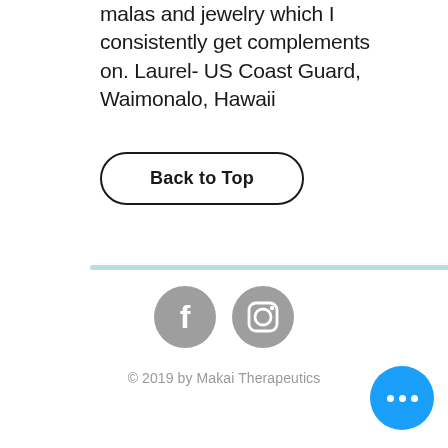malas and jewelry which I consistently get complements on. Laurel- US Coast Guard, Waimonalo, Hawaii
Back to Top
[Figure (illustration): Horizontal light blue divider bar]
[Figure (infographic): Two circular gray social media icons: Facebook (f) and Instagram (camera)]
© 2019 by Makai Therapeutics
[Figure (illustration): Blue circular floating action button with three white dots (ellipsis)]